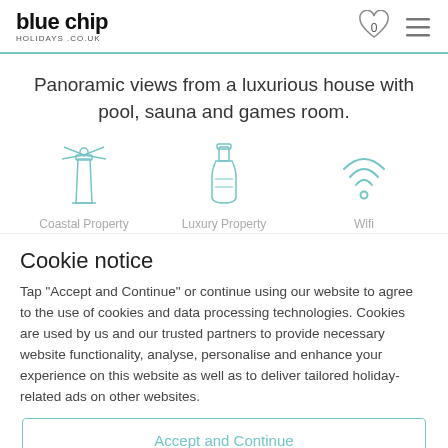blue chip holidays.co.uk
Panoramic views from a luxurious house with pool, sauna and games room.
[Figure (illustration): Three teal icons: a lighthouse (Coastal Property), a bottle (Luxury Property), and a wifi symbol (Wifi)]
Cookie notice
Tap "Accept and Continue" or continue using our website to agree to the use of cookies and data processing technologies. Cookies are used by us and our trusted partners to provide necessary website functionality, analyse, personalise and enhance your experience on this website as well as to deliver tailored holiday-related ads on other websites.
Accept and Continue